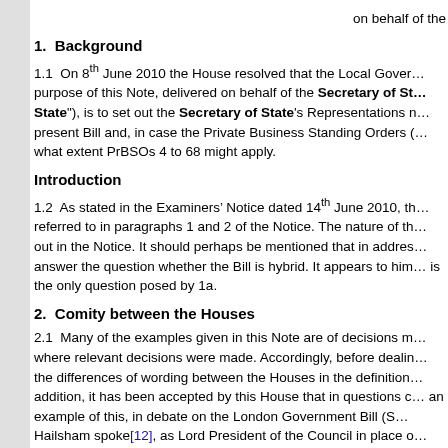on behalf of the
1.  Background
1.1  On 8th June 2010 the House resolved that the Local Gover... purpose of this Note, delivered on behalf of the Secretary of State ("Secretary of State"), is to set out the Secretary of State's Representations n... present Bill and, in case the Private Business Standing Orders (... what extent PrBSOs 4 to 68 might apply.
Introduction
1.2  As stated in the Examiners' Notice dated 14th June 2010, th... referred to in paragraphs 1 and 2 of the Notice. The nature of th... out in the Notice. It should perhaps be mentioned that in addres... answer the question whether the Bill is hybrid. It appears to him... is the only question posed by 1a.
2.  Comity between the Houses
2.1  Many of the examples given in this Note are of decisions m... where relevant decisions were made. Accordingly, before dealin... the differences of wording between the Houses in the definition ... addition, it has been accepted by this House that in questions c... an example of this, in debate on the London Government Bill (S... Hailsham spoke[12], as Lord President of the Council in place o... Bill be referred to the Examiners. While making clear that "each ... hybridity he said:[13]